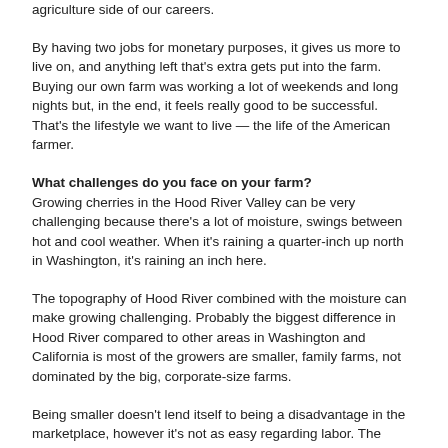agriculture side of our careers.
By having two jobs for monetary purposes, it gives us more to live on, and anything left that's extra gets put into the farm. Buying our own farm was working a lot of weekends and long nights but, in the end, it feels really good to be successful. That's the lifestyle we want to live — the life of the American farmer.
What challenges do you face on your farm?
Growing cherries in the Hood River Valley can be very challenging because there's a lot of moisture, swings between hot and cool weather. When it's raining a quarter-inch up north in Washington, it's raining an inch here.
The topography of Hood River combined with the moisture can make growing challenging. Probably the biggest difference in Hood River compared to other areas in Washington and California is most of the growers are smaller, family farms, not dominated by the big, corporate-size farms.
Being smaller doesn't lend itself to being a disadvantage in the marketplace, however it's not as easy regarding labor. The larger farms are better equipped to work with programs like H-2A and